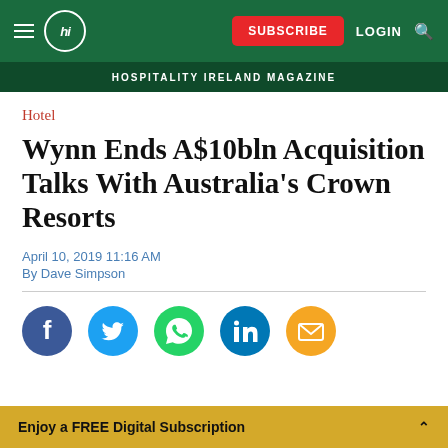hi — HOSPITALITY IRELAND MAGAZINE — SUBSCRIBE LOGIN
Hotel
Wynn Ends A$10bln Acquisition Talks With Australia's Crown Resorts
April 10, 2019 11:16 AM
By Dave Simpson
[Figure (other): Social sharing icons: Facebook, Twitter, WhatsApp, LinkedIn, Email]
Enjoy a FREE Digital Subscription